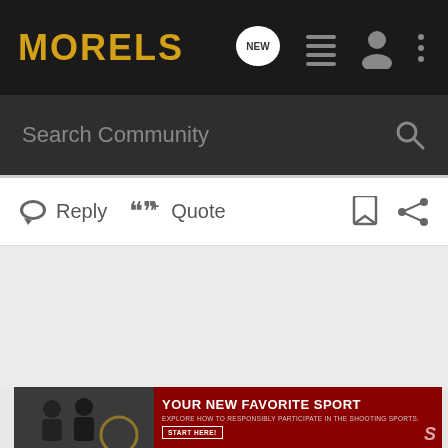MORELS
Search Community
Reply  Quote
[Figure (screenshot): Gray empty content area placeholder]
[Figure (photo): Advertisement banner: YOUR NEW FAVORITE SPORT - Explore how to responsibly participate in the shooting sports. START HERE!]